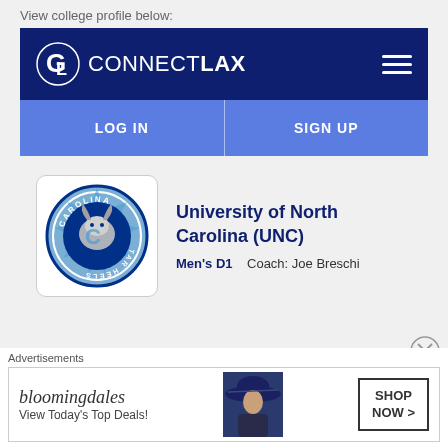View college profile below:
[Figure (screenshot): ConnectLax navigation bar with dark navy background, logo on left and hamburger menu on right]
LOG IN    SIGN UP
[Figure (logo): University of North Carolina Tar Heels logo — circular blue emblem with ram]
University of North Carolina (UNC)
Men's D1    Coach: Joe Breschi
Advertisements
[Figure (screenshot): Bloomingdale's advertisement banner: 'bloomingdales — View Today's Top Deals!' with SHOP NOW button and woman in hat image]